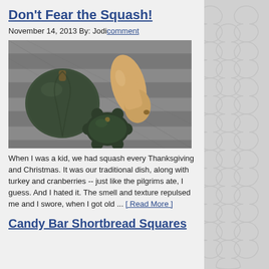Don't Fear the Squash!
November 14, 2013 By: Jodi comment
[Figure (photo): Three squash varieties arranged on a grey wooden deck: a large round dark green squash, a butternut squash lying on its side, and a small dark green pattypan squash.]
When I was a kid, we had squash every Thanksgiving and Christmas. It was our traditional dish, along with turkey and cranberries -- just like the pilgrims ate, I guess. And I hated it. The smell and texture repulsed me and I swore, when I got old ... [ Read More ]
Candy Bar Shortbread Squares